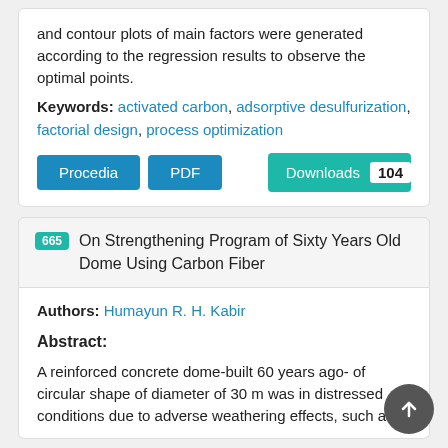and contour plots of main factors were generated according to the regression results to observe the optimal points.
Keywords: activated carbon, adsorptive desulfurization, factorial design, process optimization
Procedia  PDF  Downloads 104
665 On Strengthening Program of Sixty Years Old Dome Using Carbon Fiber
Authors: Humayun R. H. Kabir
Abstract:
A reinforced concrete dome-built 60 years ago- of circular shape of diameter of 30 m was in distressed conditions due to adverse weathering effects, such as